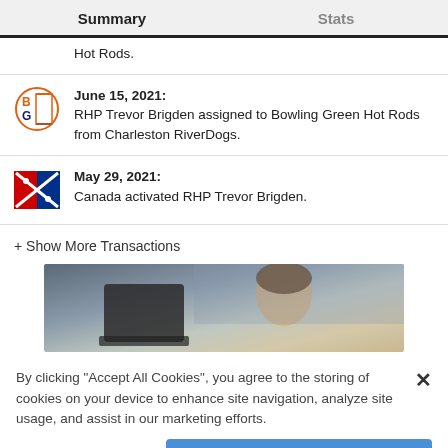Summary	Stats
Hot Rods.
June 15, 2021: RHP Trevor Brigden assigned to Bowling Green Hot Rods from Charleston RiverDogs.
May 29, 2021: Canada activated RHP Trevor Brigden.
+ Show More Transactions
[Figure (photo): Partial photo of a person, cropped screenshot from website]
By clicking "Accept All Cookies", you agree to the storing of cookies on your device to enhance site navigation, analyze site usage, and assist in our marketing efforts.
Cookies Settings	Accept All Cookies